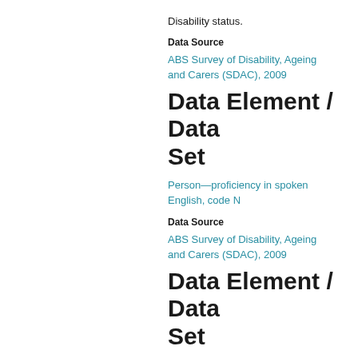Disability status.
Data Source
ABS Survey of Disability, Ageing and Carers (SDAC), 2009
Data Element / Data Set
Person—proficiency in spoken English, code N
Data Source
ABS Survey of Disability, Ageing and Carers (SDAC), 2009
Data Element / Data Set
Person—Australian state/territory identifier, code